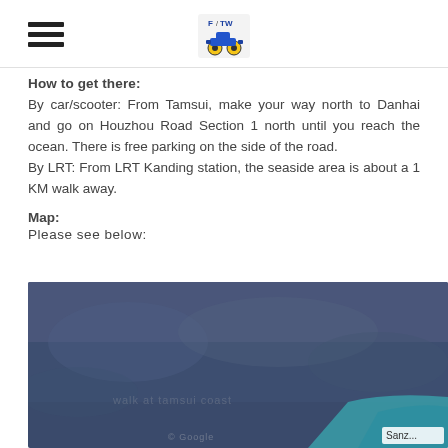How to get there:
By car/scooter: From Tamsui, make your way north to Danhai and go on Houzhou Road Section 1 north until you reach the ocean. There is free parking on the side of the road.
By LRT: From LRT Kanding station, the seaside area is about a 1 KM walk away.
Map:
Please see below:
[Figure (map): Google Maps satellite view showing a coastal area near Sanzhi, with blue ocean water visible in the lower right corner and dark blue/grey land area.]